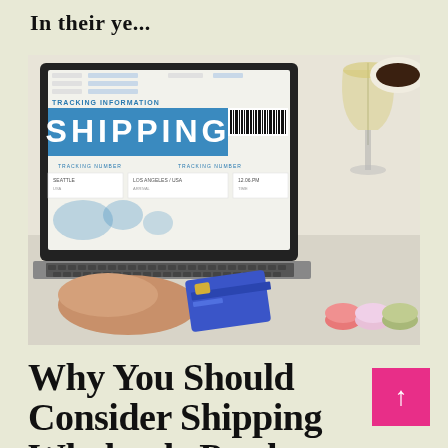In their ye...
[Figure (photo): Person typing on a laptop showing a shipping tracking page with 'SHIPPING' text in blue banner and barcode, while holding a blue credit card. A wine glass and macarons are visible in the background.]
Why You Should Consider Shipping Wholesale Product to